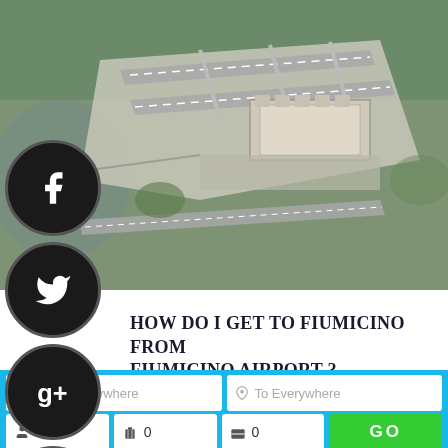[Figure (photo): Aerial 3D view of Fiumicino Airport (Rome Leonardo da Vinci International Airport) showing runways, taxiways, terminals, and surrounding landscape from above at an angle]
HOW DO I GET TO FIUMICINO FROM FIUMICINO AIRPORT ?
[Figure (infographic): Bottom search bar interface with From Everywhere and To Everywhere input fields, passenger count (1), luggage count (0), briefcase count (0), and a GO button]